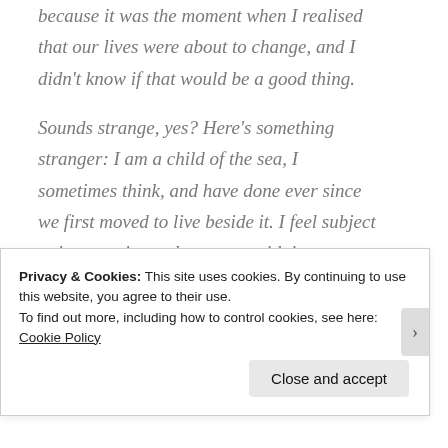because it was the moment when I realised that our lives were about to change, and I didn't know if that would be a good thing.

Sounds strange, yes? Here's something stranger: I am a child of the sea, I sometimes think, and have done ever since we first moved to live beside it. I feel subject to its vagaries and tempers, with its foaming margins framed against a towering sky. I am familiar with its
Privacy & Cookies: This site uses cookies. By continuing to use this website, you agree to their use.
To find out more, including how to control cookies, see here: Cookie Policy